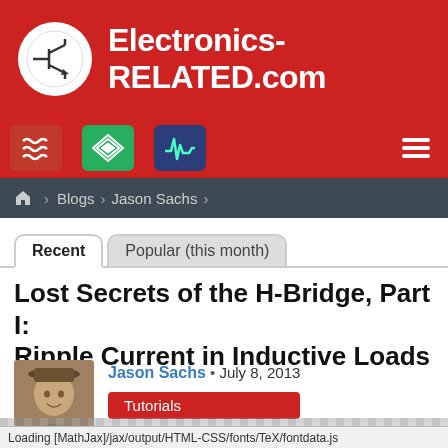[Figure (logo): Electronics-RELATED.com website header logo with red background, white circle logo icon and white site name text]
[Figure (screenshot): Navigation bar with three colored icon tiles (red, green, blue) and hamburger menu on red background]
🏠 > Blogs > Jason Sachs >
Recent | Popular (this month) — tab navigation
Lost Secrets of the H-Bridge, Part I: Ripple Current in Inductive Loads
Jason Sachs • July 8, 2013
Tutorials
Loading [MathJax]/jax/output/HTML-CSS/fonts/TeX/fontdata.js